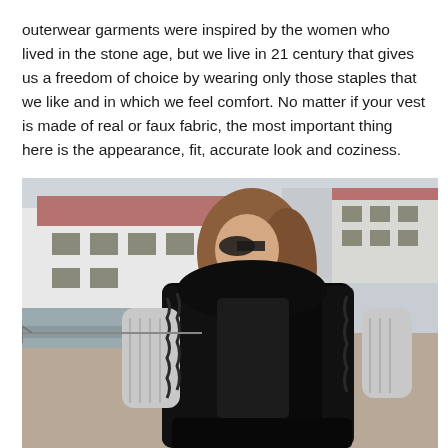outerwear garments were inspired by the women who lived in the stone age, but we live in 21 century that gives us a freedom of choice by wearing only those staples that we like and in which we feel comfort. No matter if your vest is made of real or faux fabric, the most important thing here is the appearance, fit, accurate look and coziness.
[Figure (photo): A woman wearing a black faux fur vest over a white/grey knit sweater, with sunglasses, standing outdoors near a waterfront with white buildings and a sandy/concrete area in the background.]